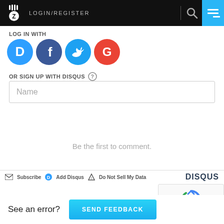[Figure (screenshot): Website header with logo, LOGIN/REGISTER text, search icon, and hamburger menu on cyan background]
LOG IN WITH
[Figure (infographic): Four social login buttons: Disqus (blue), Facebook (dark blue), Twitter (light blue), Google (red)]
OR SIGN UP WITH DISQUS ?
Name
Be the first to comment.
Subscribe  Add Disqus  Do Not Sell My Data  DISQUS
[Figure (logo): reCAPTCHA widget with spinning arrows logo and Privacy - Terms text]
See an error?
SEND FEEDBACK